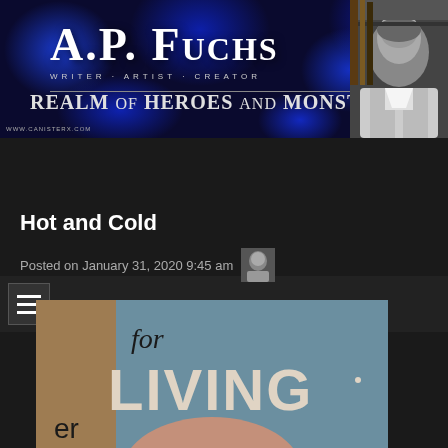[Figure (screenshot): Website banner for A.P. Fuchs - Writer, Artist, Creator. Blue textured background with author name, subtitle 'Realm of Heroes and Monsters', and a black and white author photo on the right.]
[Figure (screenshot): Navigation hamburger menu icon on dark background]
Hot and Cold
Posted on January 31, 2020 9:45 am
[Figure (photo): Close-up photo of a book cover showing the words 'for LIVING' in large text on a teal/grey background, with partial text 'er' visible below and a circular shape at bottom.]